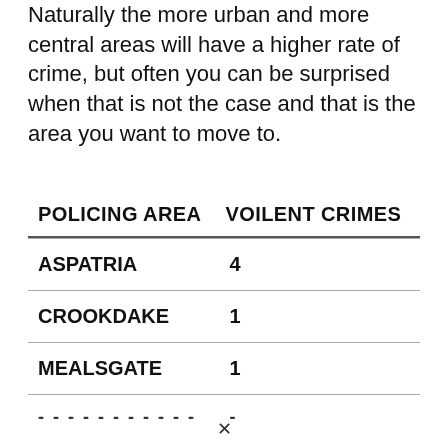Naturally the more urban and more central areas will have a higher rate of crime, but often you can be surprised when that is not the case and that is the area you want to move to.
| POLICING AREA | VOILENT CRIMES |
| --- | --- |
| ASPATRIA | 4 |
| CROOKDAKE | 1 |
| MEALSGATE | 1 |
| - - - - - - - - - - - | - |